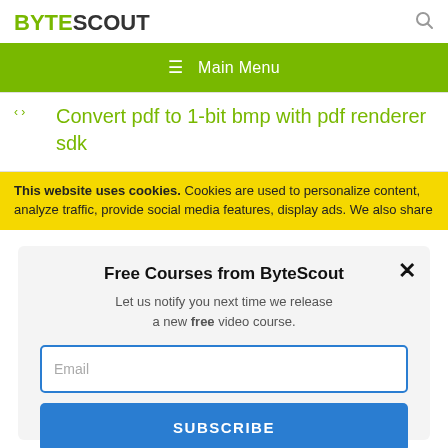BYTESCOUT
≡  Main Menu
Convert pdf to 1-bit bmp with pdf renderer sdk
This website uses cookies. Cookies are used to personalize content, analyze traffic, provide social media features, display ads. We also share
Free Courses from ByteScout
Let us notify you next time we release a new free video course.
Email
SUBSCRIBE